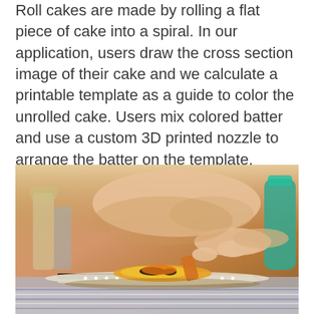Roll cakes are made by rolling a flat piece of cake into a spiral. In our application, users draw the cross section image of their cake and we calculate a printable template as a guide to color the unrolled cake. Users mix colored batter and use a custom 3D printed nozzle to arrange the batter on the template.
[Figure (photo): A person using a 3D printed nozzle to arrange colored batter on a flat template on a table. The batter forms a colorful pattern resembling a bird/design with yellow, orange, and black colors. Various kitchen items visible in the background.]